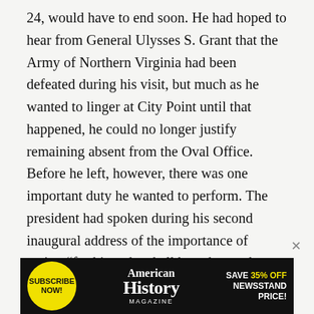24, would have to end soon. He had hoped to hear from General Ulysses S. Grant that the Army of Northern Virginia had been defeated during his visit, but much as he wanted to linger at City Point until that happened, he could no longer justify remaining absent from the Oval Office. Before he left, however, there was one important duty he wanted to perform. The president had spoken during his second inaugural address of the importance of caring “for him who shall have borne the battle.” In December 1863, he had written of the honor due the citizen who “cares for his brother in the field, and serves, as he best can, the same cause.” On April 8, Lincoln was determined to turn his own words into deeds—on a grand scale.
[Figure (infographic): American History Magazine advertisement banner. Black background. Yellow circle with 'SUBSCRIBE NOW!' text on the left. Center shows 'American History MAGAZINE' title in white serif font. Right side shows 'SAVE 35% OFF NEWSSTAND PRICE!' in white and yellow bold text.]